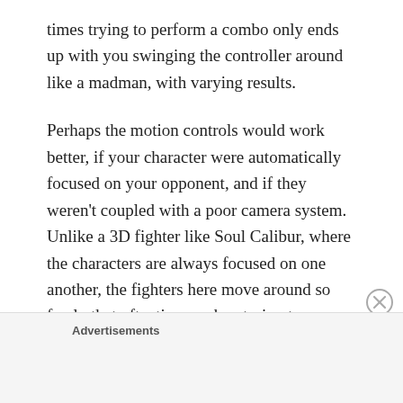times trying to perform a combo only ends up with you swinging the controller around like a madman, with varying results.
Perhaps the motion controls would work better, if your character were automatically focused on your opponent, and if they weren't coupled with a poor camera system. Unlike a 3D fighter like Soul Calibur, where the characters are always focused on one another, the fighters here move around so freely that oftentimes, when trying to perform a combo, the first move will hit your opponent and then your
Advertisements